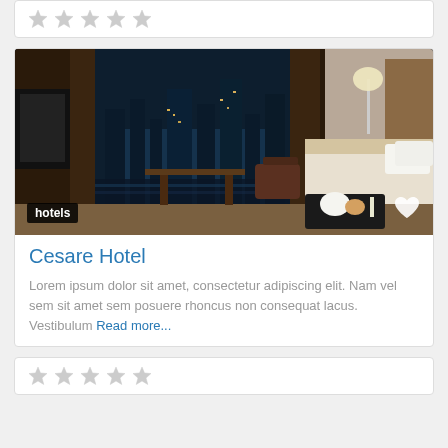[Figure (other): Five grey star rating icons (top card)]
[Figure (photo): Luxury hotel room with city night skyline view through floor-to-ceiling windows, desk, armchairs, and bed with breakfast tray. Label 'hotels' in bottom-left corner, heart icon in bottom-right.]
Cesare Hotel
Lorem ipsum dolor sit amet, consectetur adipiscing elit. Nam vel sem sit amet sem posuere rhoncus non consequat lacus. Vestibulum Read more...
[Figure (other): Five grey star rating icons (bottom card)]